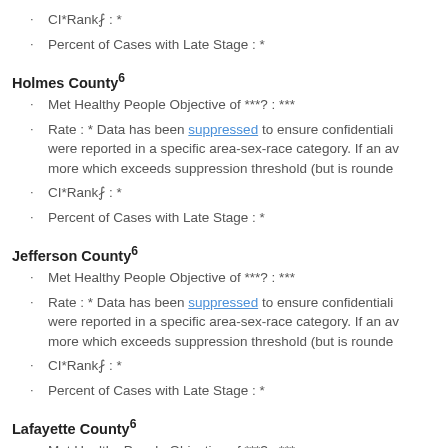CI*Rank⇑ : *
Percent of Cases with Late Stage : *
Holmes County6
Met Healthy People Objective of ***? : ***
Rate : * Data has been suppressed to ensure confidentiality were reported in a specific area-sex-race category. If an av more which exceeds suppression threshold (but is rounde
CI*Rank⇑ : *
Percent of Cases with Late Stage : *
Jefferson County6
Met Healthy People Objective of ***? : ***
Rate : * Data has been suppressed to ensure confidentiality were reported in a specific area-sex-race category. If an av more which exceeds suppression threshold (but is rounde
CI*Rank⇑ : *
Percent of Cases with Late Stage : *
Lafayette County6
Met Healthy People Objective of ***? : ***